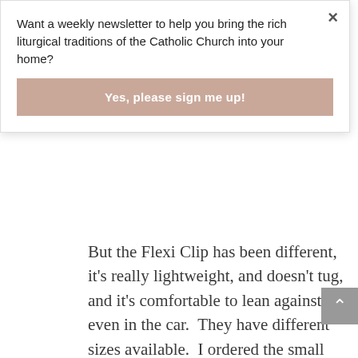Want a weekly newsletter to help you bring the rich liturgical traditions of the Catholic Church into your home?
Yes, please sign me up!
But the Flexi Clip has been different, it's really lightweight, and doesn't tug, and it's comfortable to lean against, even in the car.  They have different sizes available.  I ordered the small and it's perfect for my hair up in a twist. (Note: this contest has now ended!) If you'd like to be entered in the
×